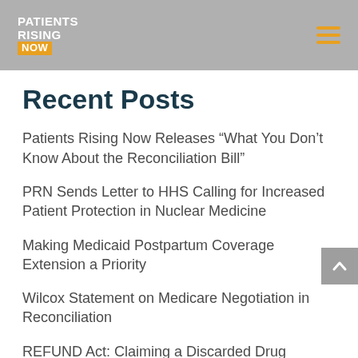Patients Rising NOW
Recent Posts
Patients Rising Now Releases “What You Don’t Know About the Reconciliation Bill”
PRN Sends Letter to HHS Calling for Increased Patient Protection in Nuclear Medicine
Making Medicaid Postpartum Coverage Extension a Priority
Wilcox Statement on Medicare Negotiation in Reconciliation
REFUND Act: Claiming a Discarded Drug Rebate